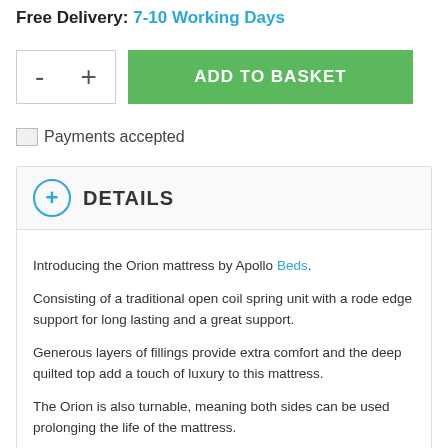Free Delivery: 7-10 Working Days
[Figure (other): Quantity selector with minus and plus buttons, and a green ADD TO BASKET button]
Payments accepted
DETAILS
Introducing the Orion mattress by Apollo Beds.
Consisting of a traditional open coil spring unit with a rode edge support for long lasting and a great support.
Generous layers of fillings provide extra comfort and the deep quilted top add a touch of luxury to this mattress.
The Orion is also turnable, meaning both sides can be used prolonging the life of the mattress.
Features
Open Coil Spring Unit